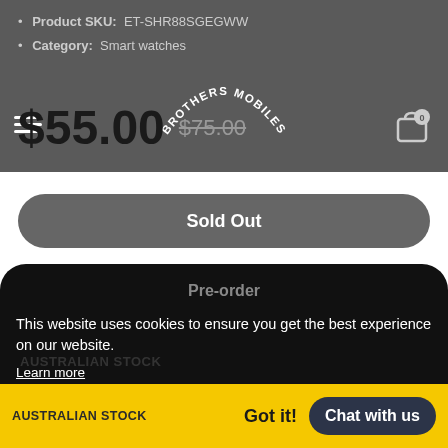Product SKU:   ET-SHR88SGEGWW
Category:   Smart watches
[Figure (logo): BROTHERS MOBILES curved text logo in white on dark background]
$55.00  $75.00
Sold Out
Pre-order
This website uses cookies to ensure you get the best experience on our website.
Learn more
Description
Shipping & Returns
AUSTRALIAN STOCK
Got it!
Chat with us
Colour: Olive Green